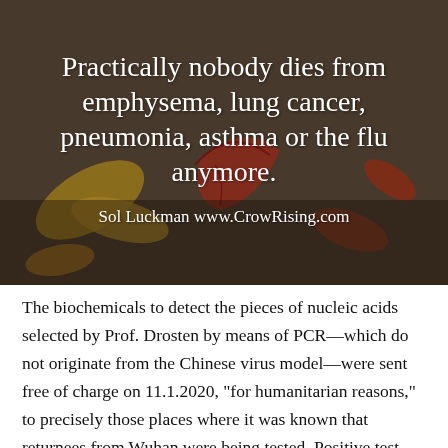[Figure (photo): Photo of autumn leaves on dark ground with overlaid white serif text quote: 'Practically nobody dies from emphysema, lung cancer, pneumonia, asthma or the flu anymore.' attributed to Sol Luckman www.CrowRising.com]
The biochemicals to detect the pieces of nucleic acids selected by Prof. Drosten by means of PCR—which do not originate from the Chinese virus model—were sent free of charge on 11.1.2020, "for humanitarian reasons," to precisely those places where it was known that returnees from Wuhan were being tested. Positive test